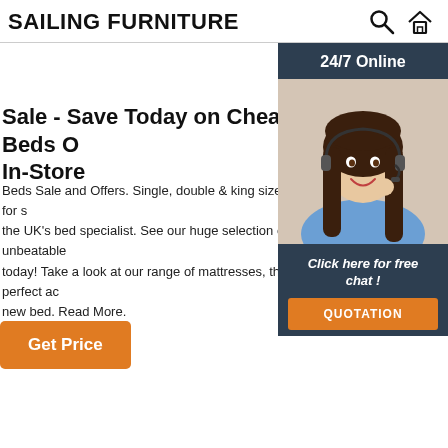SAILING FURNITURE
Sale - Save Today on Cheap Beds Online & In-Store
Beds Sale and Offers. Single, double & king size beds for sale from the UK's bed specialist. See our huge selection of unbeatable deals today! Take a look at our range of mattresses, the perfect accessory for a new bed. Read More.
[Figure (illustration): Customer service representative woman with headset, 24/7 Online widget with orange QUOTATION button and 'Click here for free chat!' text]
Get Price